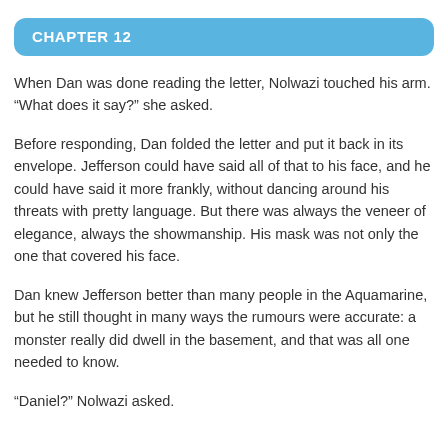CHAPTER 12
When Dan was done reading the letter, Nolwazi touched his arm. “What does it say?” she asked.
Before responding, Dan folded the letter and put it back in its envelope. Jefferson could have said all of that to his face, and he could have said it more frankly, without dancing around his threats with pretty language. But there was always the veneer of elegance, always the showmanship. His mask was not only the one that covered his face.
Dan knew Jefferson better than many people in the Aquamarine, but he still thought in many ways the rumours were accurate: a monster really did dwell in the basement, and that was all one needed to know.
“Daniel?” Nolwazi asked.